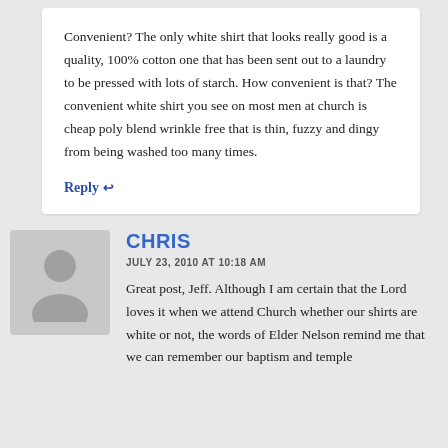Convenient? The only white shirt that looks really good is a quality, 100% cotton one that has been sent out to a laundry to be pressed with lots of starch. How convenient is that? The convenient white shirt you see on most men at church is cheap poly blend wrinkle free that is thin, fuzzy and dingy from being washed too many times.
Reply ↩
[Figure (illustration): Generic grey avatar/profile picture placeholder showing a silhouette of a person]
CHRIS
JULY 23, 2010 AT 10:18 AM
Great post, Jeff. Although I am certain that the Lord loves it when we attend Church whether our shirts are white or not, the words of Elder Nelson remind me that we can remember our baptism and temple